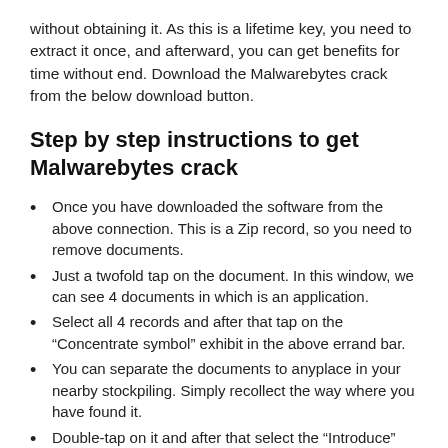without obtaining it. As this is a lifetime key, you need to extract it once, and afterward, you can get benefits for time without end. Download the Malwarebytes crack from the below download button.
Step by step instructions to get Malwarebytes crack
Once you have downloaded the software from the above connection. This is a Zip record, so you need to remove documents.
Just a twofold tap on the document. In this window, we can see 4 documents in which is an application.
Select all 4 records and after that tap on the “Concentrate symbol” exhibit in the above errand bar.
You can separate the documents to anyplace in your nearby stockpiling. Simply recollect the way where you have found it.
Double-tap on it and after that select the “Introduce”